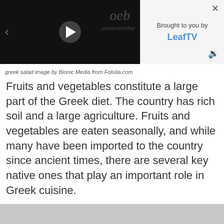[Figure (screenshot): Video player overlay with play button, arrow, and watermark text 'oeb' and 'pureeveryday']
greek salad image by Bionic Media from Fotolia.com
Fruits and vegetables constitute a large part of the Greek diet. The country has rich soil and a large agriculture. Fruits and vegetables are eaten seasonally, and while many have been imported to the country since ancient times, there are several key native ones that play an important role in Greek cuisine.